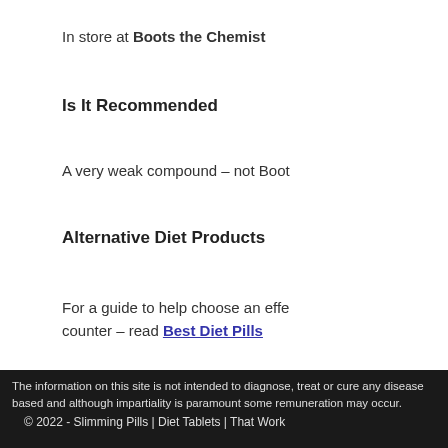In store at Boots the Chemist
Is It Recommended
A very weak compound – not Boot
Alternative Diet Products
For a guide to help choose an effe counter – read Best Diet Pills
The information on this site is not intended to diagnose, treat or cure any disease based and although impartiality is paramount some remuneration may occur. © 2022 - Slimming Pills | Diet Tablets | That Work